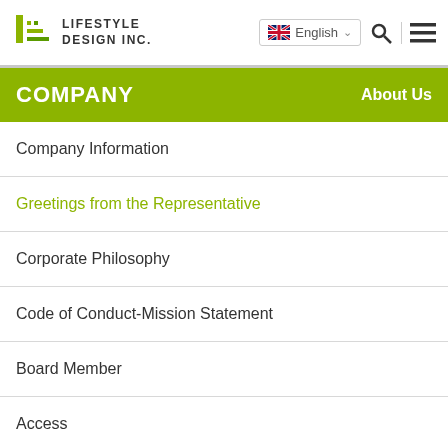Lifestyle Design Inc. — English language selector, search, and menu icons
COMPANY — About Us
Company Information
Greetings from the Representative
Corporate Philosophy
Code of Conduct-Mission Statement
Board Member
Access
Privacy Policy